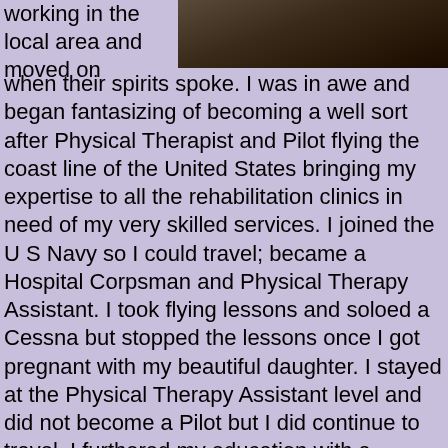[Figure (photo): Partial photo of a person at the top right of the page, dark background]
working in the local area and moved on when their spirits spoke. I was in awe and began fantasizing of becoming a well sort after Physical Therapist and Pilot flying the coast line of the United States bringing my expertise to all the rehabilitation clinics in need of my very skilled services. I joined the US Navy so I could travel; became a Hospital Corpsman and Physical Therapy Assistant. I took flying lessons and soloed a Cessna but stopped the lessons once I got pregnant with my beautiful daughter. I stayed at the Physical Therapy Assistant level and did not become a Pilot but I did continue to travel. I furthered my education with a degree in Business Administration and opened and operated a business in the fitness and wellness arena which I later closed to join my husband in Germany where we currently reside. My first 4 years in Germany I continued my work as a Physical Therapy Assistant and was honored to have assisted many wounded warriors (those very brave men & women who fought for our freedom) in